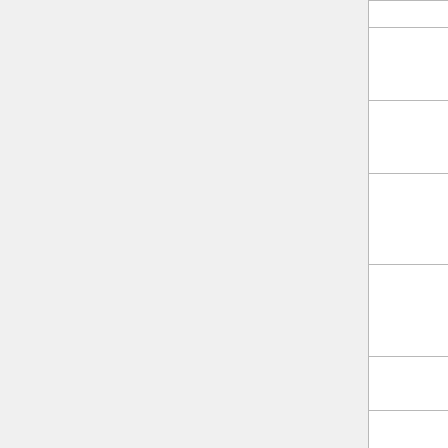| (col1) | (col2) | (col3) | (col4) |
| --- | --- | --- | --- |
|  | free GNU/Linux distribution |  |  |
|  | well-known GNU/Linux distribution |  |  |
|  | well-known GNU/Linux system distribution |  |  |
|  | well-known GNU/Linux software distribution |  |  |
|  | free system distribution |  |  |
|  | GNU/Linux distribution |  |  |
|  | existing distribution |  |  |
|  | GNU/Linux |  |  |